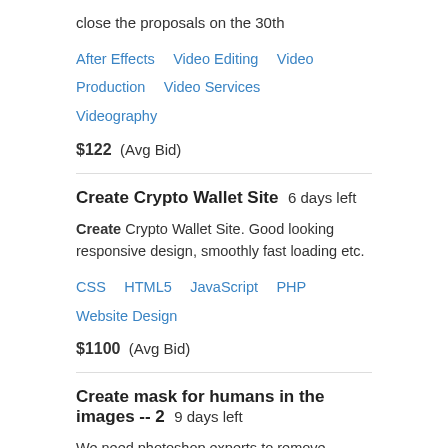close the proposals on the 30th
After Effects   Video Editing   Video Production   Video Services   Videography
$122  (Avg Bid)
Create Crypto Wallet Site  6 days left
Create Crypto Wallet Site. Good looking responsive design, smoothly fast loading etc.
CSS   HTML5   JavaScript   PHP   Website Design
$1100  (Avg Bid)
Create mask for humans in the images -- 2  9 days left
We need photoshop experts to remove background from humans in images and create masks over the pixels which